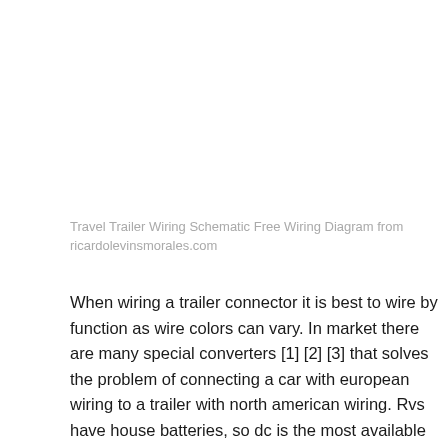Travel Trailer Wiring Schematic Free Wiring Diagram from ricardolevinsmorales.com
When wiring a trailer connector it is best to wire by function as wire colors can vary. In market there are many special converters [1] [2] [3] that solves the problem of connecting a car with european wiring to a trailer with north american wiring. Rvs have house batteries, so dc is the most available wellspring of power for any rv.the fundamental gadgets pull from those batteries: